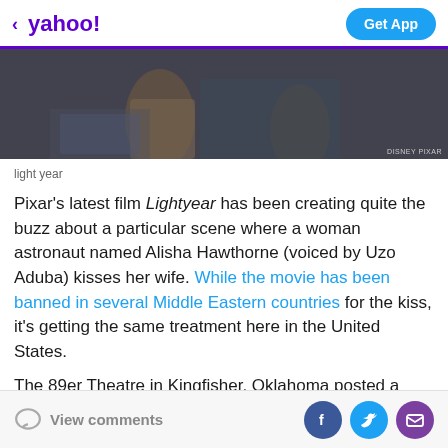< yahoo! | Get App
[Figure (photo): A dark scene from the Pixar film Lightyear showing characters, with a DISNEY PIXAR watermark in the bottom right corner.]
light year
Pixar's latest film Lightyear has been creating quite the buzz about a particular scene where a woman astronaut named Alisha Hawthorne (voiced by Uzo Aduba) kisses her wife. While the movie has been banned in several Middle Eastern countries for the kiss, it's getting the same treatment here in the United States.
The 89er Theatre in Kingfisher, Oklahoma posted a sign along with its poster for Lightyear that read: “Attention
View comments | Facebook | Twitter | Email